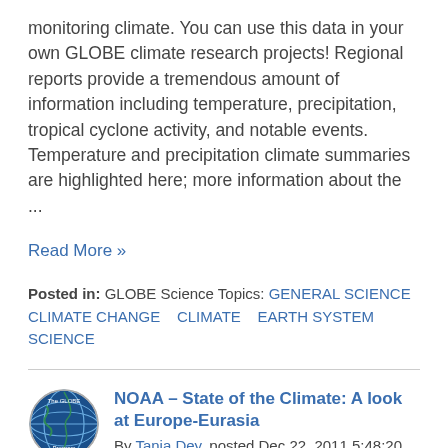monitoring climate. You can use this data in your own GLOBE climate research projects! Regional reports provide a tremendous amount of information including temperature, precipitation, tropical cyclone activity, and notable events. Temperature and precipitation climate summaries are highlighted here; more information about the ...
Read More »
Posted in: GLOBE Science Topics: GENERAL SCIENCE CLIMATE CHANGE   CLIMATE   EARTH SYSTEM SCIENCE
NOAA – State of the Climate: A look at Europe-Eurasia
By Tania Dey, posted Dec 22, 2011 5:48:20 AM
This week we'll continue our look at the climate